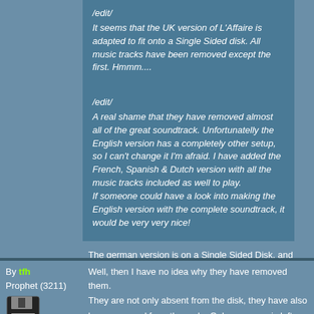/edit/ It seems that the UK version of L'Affaire is adapted to fit onto a Single Sided disk. All music tracks have been removed except the first. Hmmm....
/edit/ A real shame that they have removed almost all of the great soundtrack. Unfortunatelly the English version has a completely other setup, so I can't change it I'm afraid. I have added the French, Spanish & Dutch version with all the music tracks included as well to play. If someone could have a look into making the English version with the complete soundtrack, it would be very very nice!
The german version is on a Single Sided Disk, and there are all music tracks on the disk. I played it on the VG8235 wich has only a 360kb diskdrive.
By tfh
Prophet (3211)
Well, then I have no idea why they have removed them. They are not only absent from the disk, they have also been removed from the code. Only one song is left and